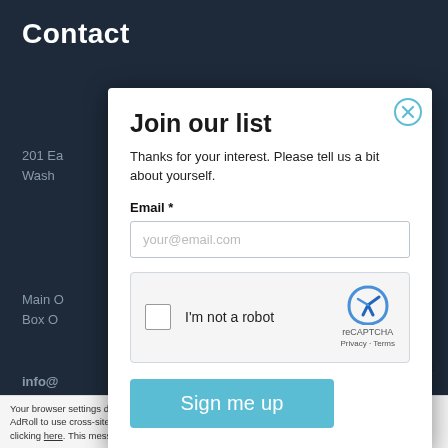Contact
201 Ea
Wash
Main O
Box O
info@
Vis
ctions
Buildi
Our m
progra
[Figure (screenshot): Modal popup dialog with title 'Join our list', email input field, reCAPTCHA widget, and 'Sign me up' button. A close button (X) appears in the top right corner of the modal.]
Close ✕
Your browser settings do not allow cross-site tracking for advertising. Click on this page to allow AdRoll to use cross-site tracking to tailor ads to you. Learn more or opt out of this AdRoll tracking by clicking here. This message only appears once.